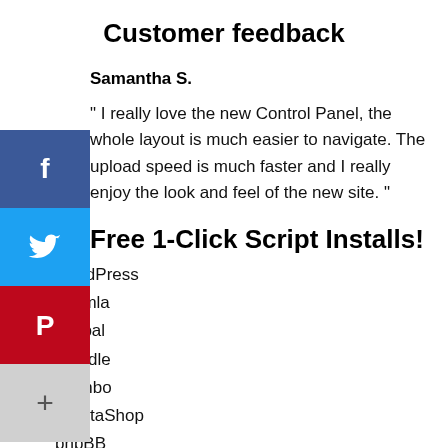Customer feedback
Samantha S.
" I really love the new Control Panel, the whole layout is much easier to navigate. The upload speed is much faster and I really enjoy the look and feel of the new site. "
Free 1-Click Script Installs!
WordPress
Joomla
Drupal
Moodle
Mambo
PrestaShop
phpBB